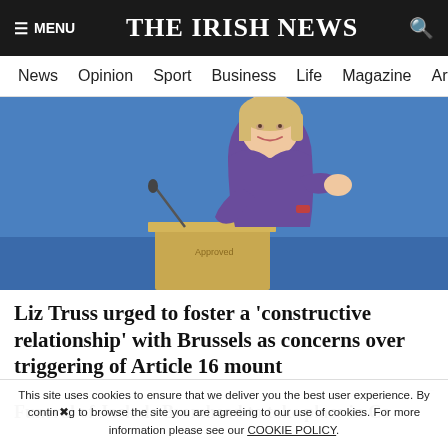≡ MENU  THE IRISH NEWS  🔍
News  Opinion  Sport  Business  Life  Magazine  Arts
[Figure (photo): Liz Truss speaking at a podium with a microphone, wearing a purple outfit, in front of a blue background]
Liz Truss urged to foster a 'constructive relationship' with Brussels as concerns over triggering of Article 16 mount
Funeral of Jack de Bromhead to take place in Co
This site uses cookies to ensure that we deliver you the best user experience. By continuing to browse the site you are agreeing to our use of cookies. For more information please see our COOKIE POLICY.